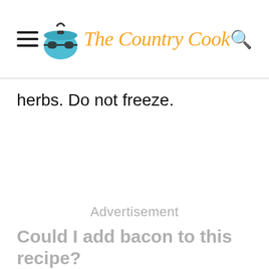The Country Cook
herbs. Do not freeze.
Advertisement
Could I add bacon to this recipe?